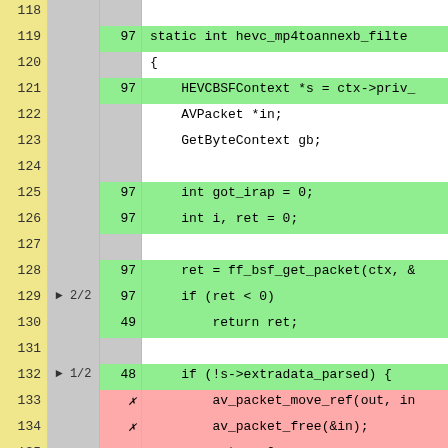[Figure (screenshot): Code coverage viewer showing C source code lines 118-143 of hevc_mp4toannexb_filter function. Line numbers in yellow column, branch coverage in gray column, hit counts in colored column (green=covered, red=uncovered/x), and source code in right column. Lines 133-135 are highlighted red (uncovered). Most other executed lines are green.]